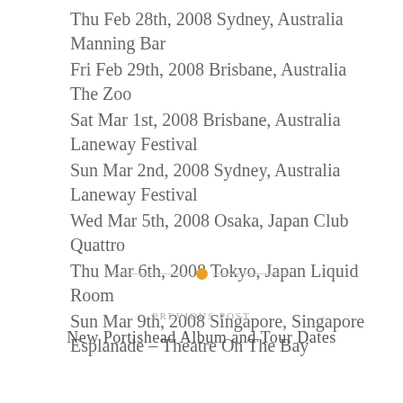Thu Feb 28th, 2008 Sydney, Australia Manning Bar
Fri Feb 29th, 2008 Brisbane, Australia The Zoo
Sat Mar 1st, 2008 Brisbane, Australia Laneway Festival
Sun Mar 2nd, 2008 Sydney, Australia Laneway Festival
Wed Mar 5th, 2008 Osaka, Japan Club Quattro
Thu Mar 6th, 2008 Tokyo, Japan Liquid Room
Sun Mar 9th, 2008 Singapore, Singapore Esplanade – Theatre On The Bay
PREVIOUS POST
New Portishead Album and Tour Dates